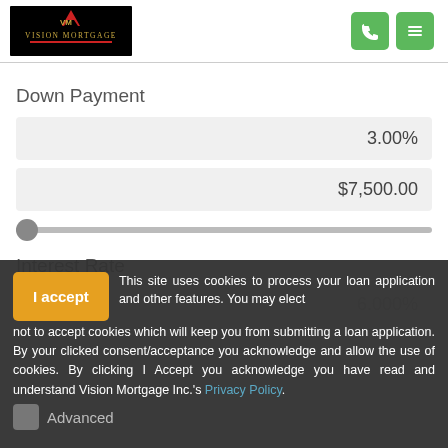[Figure (logo): Vision Mortgage logo on black background with red triangle and gold text]
Down Payment
3.00%
$7,500.00
Interest Rate
I accept
This site uses cookies to process your loan application and other features. You may elect not to accept cookies which will keep you from submitting a loan application. By your clicked consent/acceptance you acknowledge and allow the use of cookies. By clicking I Accept you acknowledge you have read and understand Vision Mortgage Inc.'s Privacy Policy.
Advanced